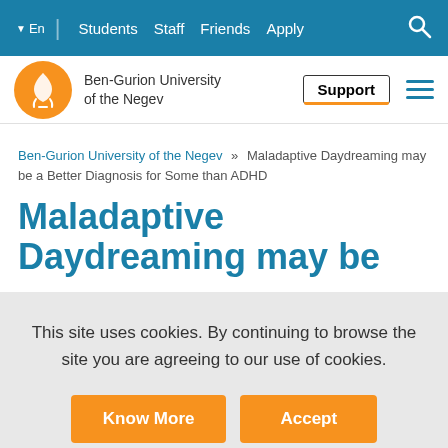En | Students  Staff  Friends  Apply [Search]
[Figure (logo): Ben-Gurion University of the Negev orange circular logo with flame symbol]
Ben-Gurion University of the Negev
Support
Ben-Gurion University of the Negev >> Maladaptive Daydreaming may be a Better Diagnosis for Some than ADHD
Maladaptive Daydreaming may be
This site uses cookies. By continuing to browse the site you are agreeing to our use of cookies.
Know More
Accept